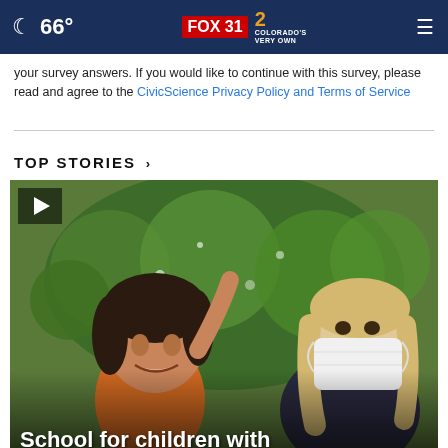66° | FOX 31 | 2 COLORADO'S VERY OWN
your survey answers. If you would like to continue with this survey, please read and agree to the CivicScience Privacy Policy and Terms of Service
TOP STORIES ›
[Figure (photo): A young girl with dark hair smiling, next to a woman with light hair wearing a white face mask, with green foliage in the background. A video play button is in the top-left corner. Text overlay reads 'School for children with']